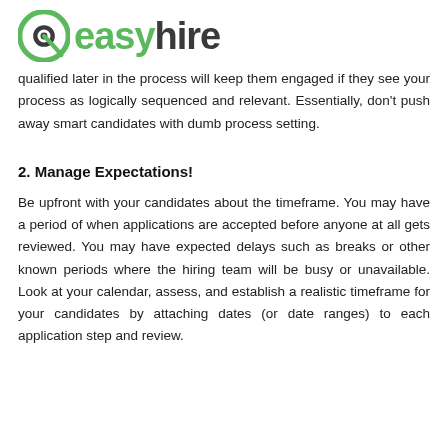easyhire
qualified later in the process will keep them engaged if they see your process as logically sequenced and relevant. Essentially, don't push away smart candidates with dumb process setting.
2. Manage Expectations!
Be upfront with your candidates about the timeframe. You may have a period of when applications are accepted before anyone at all gets reviewed. You may have expected delays such as breaks or other known periods where the hiring team will be busy or unavailable. Look at your calendar, assess, and establish a realistic timeframe for your candidates by attaching dates (or date ranges) to each application step and review.